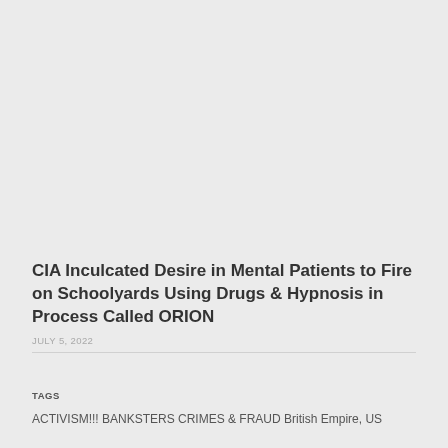CIA Inculcated Desire in Mental Patients to Fire on Schoolyards Using Drugs & Hypnosis in Process Called ORION
JULY 5, 2022
TAGS
ACTIVISM!!! BANKSTERS CRIMES & FRAUD British Empire, US